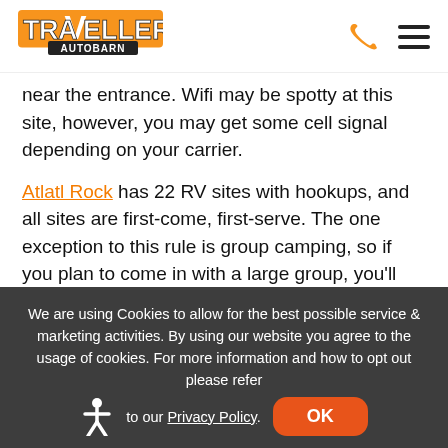Travellers Autobarn
near the entrance. Wifi may be spotty at this site, however, you may get some cell signal depending on your carrier.
Atlatl Rock has 22 RV sites with hookups, and all sites are first-come, first-serve. The one exception to this rule is group camping, so if you plan to come in with a large group, you'll need a reservation. You'll want to have cash for the entrance fee as well as fees for the
We are using Cookies to allow for the best possible service & marketing activities. By using our website you agree to the usage of cookies. For more information and how to opt out please refer to our Privacy Policy.